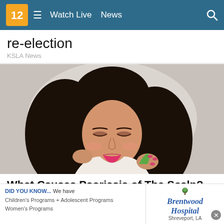12  ≡  Watch Live  News  🔍
re-election
KSLA News
[Figure (photo): Young woman with long black hair applying aloe vera to her hair, looking down, against a light gray background. She wears a white top and has pink lipstick.]
What Causes Psoriasis of The Scalp? It's Most L…
[Figure (infographic): Advertisement banner: Left side reads 'DID YOU KNOW... We have Children's Programs + Adolescent Programs Women's Programs'. Right side shows Brentwood Hospital logo with a tree icon and text 'Shreveport, LA'. Close button (X) on far right.]